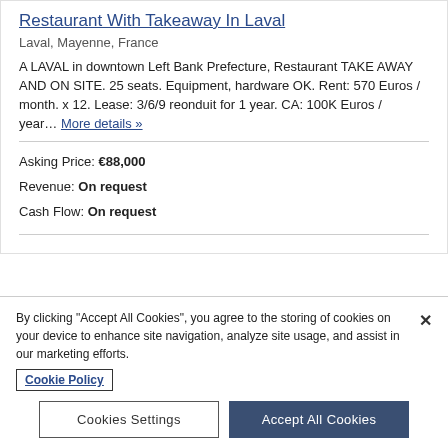Restaurant With Takeaway In Laval
Laval, Mayenne, France
A LAVAL in downtown Left Bank Prefecture, Restaurant TAKE AWAY AND ON SITE. 25 seats. Equipment, hardware OK. Rent: 570 Euros / month. x 12. Lease: 3/6/9 reonduit for 1 year. CA: 100K Euros / year... More details »
Asking Price: €88,000
Revenue: On request
Cash Flow: On request
By clicking "Accept All Cookies", you agree to the storing of cookies on your device to enhance site navigation, analyze site usage, and assist in our marketing efforts.
Cookie Policy
Cookies Settings
Accept All Cookies